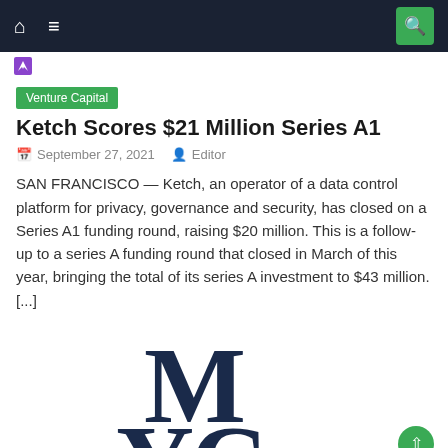Navigation bar with home, menu, and search icons
[Figure (logo): Purple diagonal arrow/bookmark site logo mark]
Venture Capital
Ketch Scores $21 Million Series A1
September 27, 2021   Editor
SAN FRANCISCO — Ketch, an operator of a data control platform for privacy, governance and security, has closed on a Series A1 funding round, raising $20 million. This is a follow-up to a series A funding round that closed in March of this year, bringing the total of its series A investment to $43 million. [...]
[Figure (logo): Large dark navy blue MYC monogram logo letters partially visible at bottom of page]